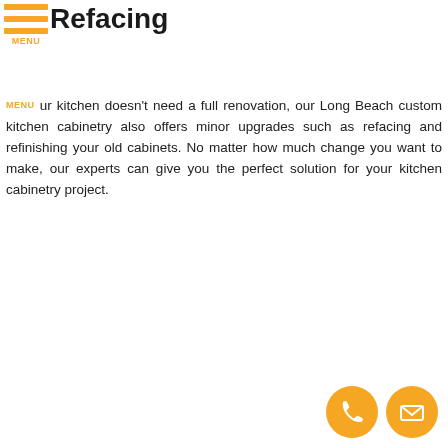MENU
Refacing
ur kitchen doesn't need a full renovation, our Long Beach custom kitchen cabinetry also offers minor upgrades such as refacing and refinishing your old cabinets. No matter how much change you want to make, our experts can give you the perfect solution for your kitchen cabinetry project.
[Figure (illustration): Two circular orange icon buttons at bottom right: a phone/call icon and an email/envelope icon]